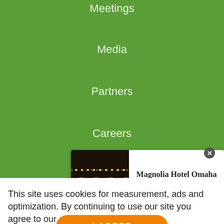Meetings
Media
Partners
Careers
© Visit Omaha
Omaha Visitors Center | 306 S 10th St. | Omaha, NE 68102
[Figure (photo): Advertisement for Magnolia Hotel Omaha with an interior photo of an ornate venue hallway lit with string lights, and a 'BOOK TODAY' button]
This site uses cookies for measurement, ads and optimization. By continuing to use our site you agree to our privacy policy.
I AGREE